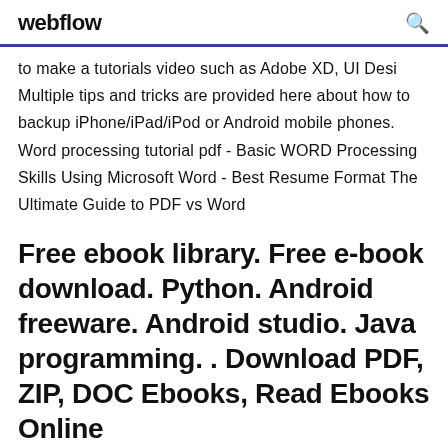webflow
to make a tutorials video such as Adobe XD, UI Desi Multiple tips and tricks are provided here about how to backup iPhone/iPad/iPod or Android mobile phones. Word processing tutorial pdf - Basic WORD Processing Skills Using Microsoft Word - Best Resume Format The Ultimate Guide to PDF vs Word
Free ebook library. Free e-book download. Python. Android freeware. Android studio. Java programming. . Download PDF, ZIP, DOC Ebooks, Read Ebooks Online